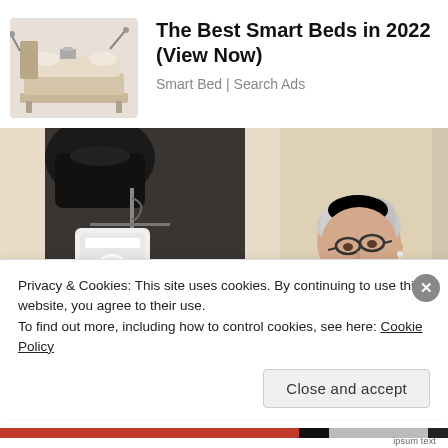[Figure (illustration): Advertisement image of a smart bed - a large modern bed with robotic/mechanical arms and accessories]
The Best Smart Beds in 2022 (View Now)
Smart Bed | Search Ads
[Figure (photo): Elderly woman with glasses wearing a green shirt, looking downward. On the left side there is a black bag and a white appliance on a shelf.]
Privacy & Cookies: This site uses cookies. By continuing to use this website, you agree to their use.
To find out more, including how to control cookies, see here: Cookie Policy
Close and accept